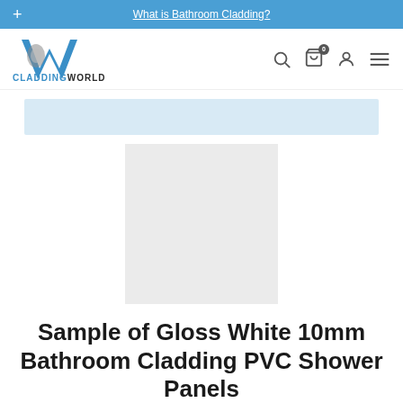What is Bathroom Cladding?
[Figure (logo): CladdingWorld logo with stylized W icon in blue and grey, text CLADDINGWORLD below]
[Figure (other): Light blue/grey banner strip placeholder, product image placeholder (grey rectangle)]
Sample of Gloss White 10mm Bathroom Cladding PVC Shower Panels
£1.49